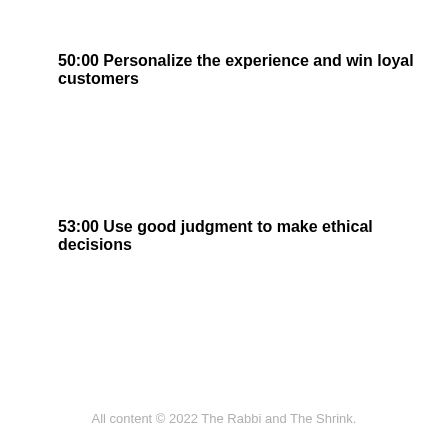50:00 Personalize the experience and win loyal customers
53:00 Use good judgment to make ethical decisions
All content © 2022 The Rabbi and The Shrink.